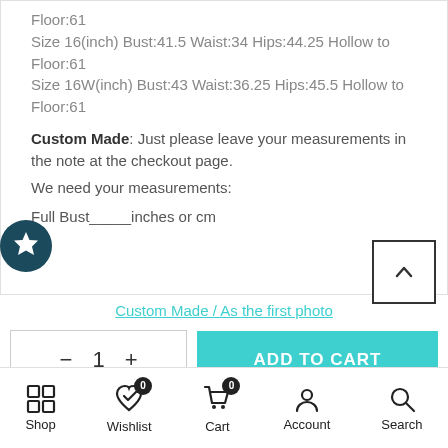Floor:61
Size 16(inch) Bust:41.5 Waist:34 Hips:44.25 Hollow to Floor:61
Size 16W(inch) Bust:43 Waist:36.25 Hips:45.5 Hollow to Floor:61
Custom Made: Just please leave your measurements in the note at the checkout page.
We need your measurements:
Full Bust_____inches or cm
Custom Made / As the first photo
- 1 + ADD TO CART
Shop  Wishlist  Cart  Account  Search